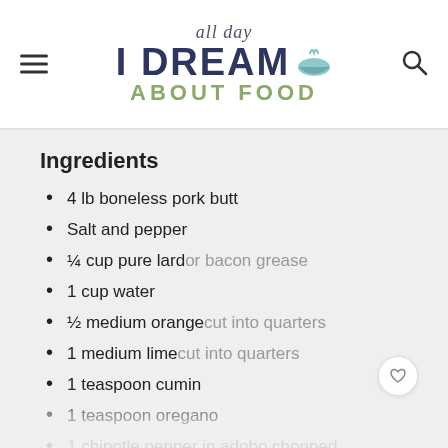all day I DREAM ABOUT FOOD
Ingredients
4 lb boneless pork butt
Salt and pepper
¼ cup pure lard or bacon grease
1 cup water
½ medium orange cut into quarters
1 medium lime cut into quarters
1 teaspoon cumin
1 teaspoon oregano
1 chipotle pepper in adobo chopped
2 cloves garlic minced